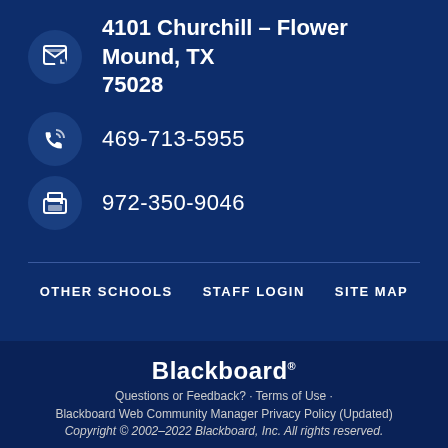4101 Churchill – Flower Mound, TX 75028
469-713-5955
972-350-9046
OTHER SCHOOLS
STAFF LOGIN
SITE MAP
Blackboard® Questions or Feedback? • Terms of Use • Blackboard Web Community Manager Privacy Policy (Updated) Copyright © 2002–2022 Blackboard, Inc. All rights reserved.